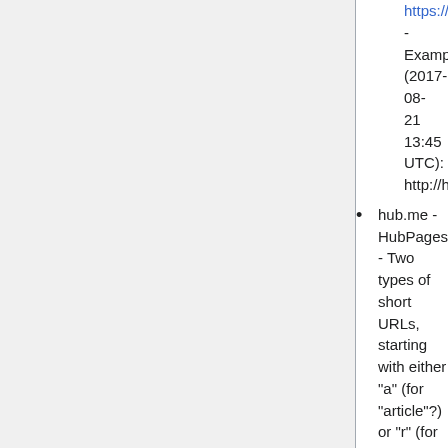https://twitter.com/UniofHerts - Example (2017-08-21 13:45 UTC): http://hrts.me/J2o9h
hub.me - HubPages - Two types of short URLs, starting with either "a" (for "article"?) or "r" (for "replies"?). The shortcode afterwards is then a base62-encoded ID (0-9a-zA-Z). Highest IDs as of 2017-10-09 near the example links. - Examples: http://hub dot me/alvyn, http://hub dot me/r1cxN
igg.me - Indiegogo - Most seem to use chosen names - Examples: http://igg.me/at/defendbitcoinmagazine, http://igg.me/at/1NaE6yoZIaY
kas.pr - Kaspersky Lab - Requires login; 302 redirect/404 error on GET, does not support HEAD - Examples (2017-08-24): https://kas.pr/x4Hq,